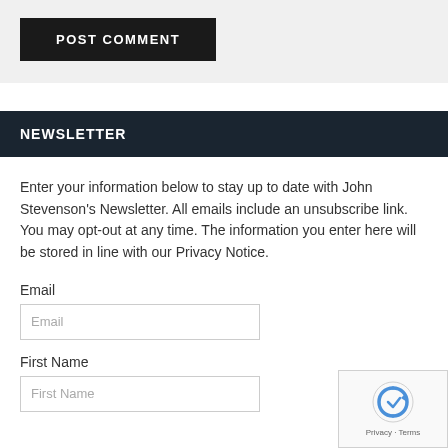POST COMMENT
NEWSLETTER
Enter your information below to stay up to date with John Stevenson's Newsletter. All emails include an unsubscribe link. You may opt-out at any time. The information you enter here will be stored in line with our Privacy Notice.
Email
Email
First Name
First Name
[Figure (logo): reCAPTCHA badge with robot icon and Privacy - Terms text]